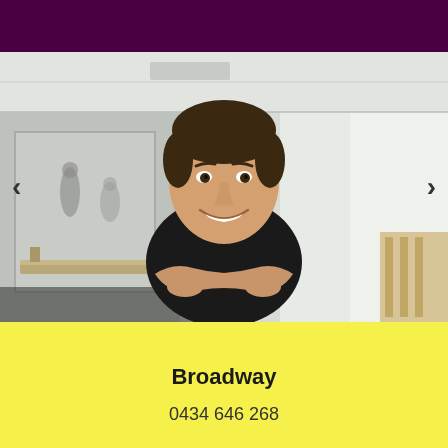[Figure (photo): A smiling man with dark hair in a black t-shirt, arms crossed, standing in a pilates or fitness studio with equipment visible in the blurred background. Navigation arrows (< >) visible on left and right sides of the image.]
Broadway
0434 646 268